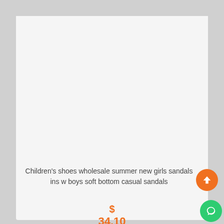[Figure (photo): Product image area for children's sandals (light gray placeholder background)]
Children's shoes wholesale summer new girls sandals ins w boys soft bottom casual sandals
$ 34.10